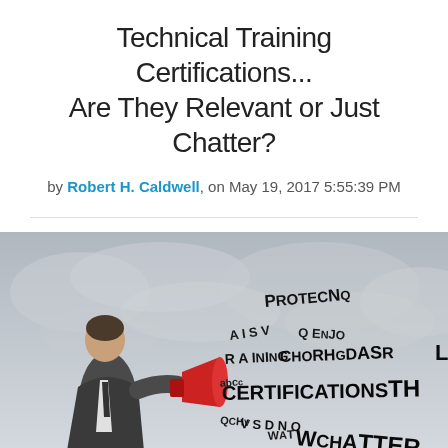Technical Training Certifications... Are They Relevant or Just Chatter?
by Robert H. Caldwell, on May 19, 2017 5:55:39 PM
[Figure (photo): A man in a suit shouting into a megaphone with letters and words like CERTIFICATIONS, CHATTER, PROTECT, TRAINING, and random letters flying out from the megaphone against a cloudy grey background.]